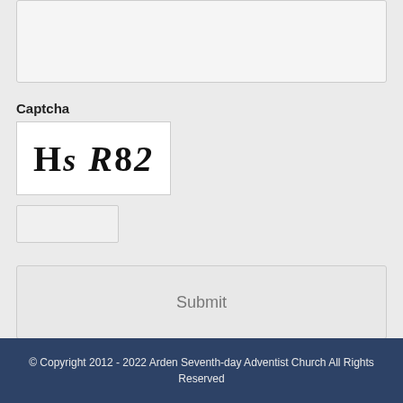[Figure (screenshot): A textarea input box (empty, light gray background)]
Captcha
[Figure (screenshot): CAPTCHA image showing the text 'HsR82' in a mixed serif italic style on white background]
[Figure (screenshot): A small text input box for entering the CAPTCHA answer]
[Figure (screenshot): A Submit button (light gray, full width)]
© Copyright 2012 - 2022 Arden Seventh-day Adventist Church All Rights Reserved